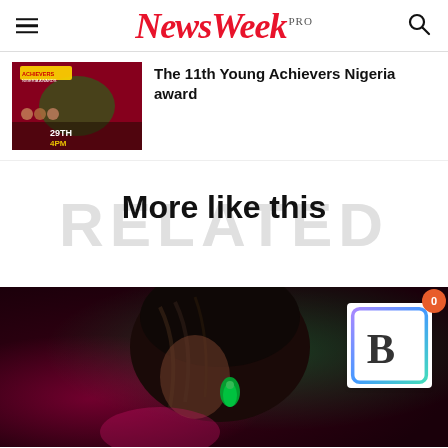NewsWeek PRO
[Figure (photo): Young Achievers Nigeria Awards event thumbnail - dark red background with faces and Nigeria map graphic]
The 11th Young Achievers Nigeria award
More like this
[Figure (photo): Dark red-toned photo of a woman with braided hair and green earrings in profile view, with a B badge icon overlay]